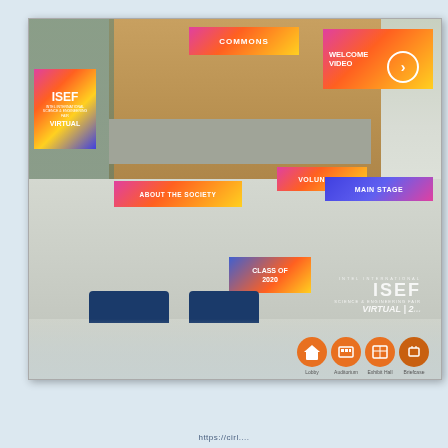[Figure (screenshot): Screenshot of ISEF Virtual 2020 online conference platform lobby. A 3D rendered virtual lobby space showing multiple clickable banners: COMMONS (top center, pink-orange-yellow gradient), WELCOME VIDEO (top right with play button), ABOUT THE SOCIETY (left middle, gradient banner), VOLUNTEER (center, gradient banner), MAIN STAGE (right, blue-purple gradient banner), CLASS OF 2020 (center, gradient banner), and ISEF logo poster on left wall. The lobby features a wood-paneled back wall, glass walls on left with plants, blue sofas/furniture, and balcony level. Floor shows ISEF VIRTUAL 2020 logo text. Navigation bar at bottom shows four orange circular icons: Lobby, Auditorium, Exhibit Hall, Briefcase.]
https://cirl....